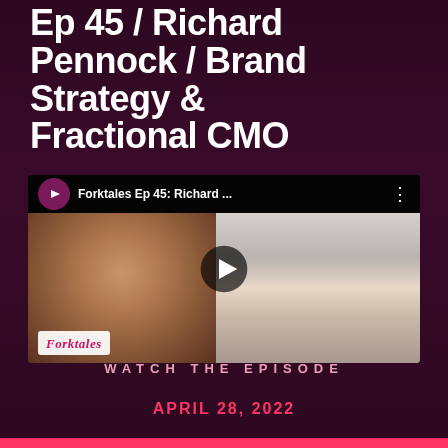Ep 45 / Richard Pennock / Brand Strategy & Fractional CMO
[Figure (screenshot): YouTube video thumbnail showing two people in a video call: a man with headphones on the left (podcast host) and a man with glasses on the right (guest Richard Pennock). The video title bar reads 'Forktales Ep 45: Richard ...' with the Forktales bull logo. A play button overlay is in the center. The Forktales logo watermark appears in the lower left of the thumbnail.]
WATCH THE EPISODE
APRIL 28, 2022